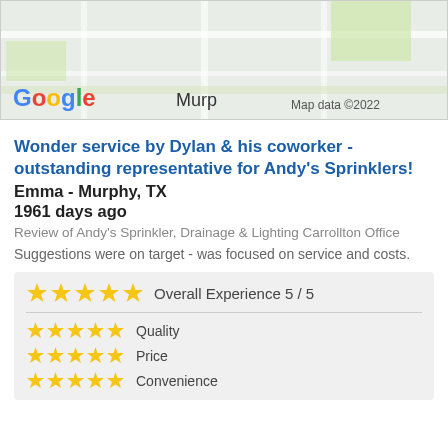[Figure (map): Google Maps screenshot showing Murphy, TX area with Google logo and 'Map data ©2022' text]
Wonder service by Dylan & his coworker - outstanding representative for Andy's Sprinklers!
Emma - Murphy, TX
1961 days ago
Review of Andy's Sprinkler, Drainage & Lighting Carrollton Office
Suggestions were on target - was focused on service and costs.
| ★★★★★ | Overall Experience 5 / 5 |
| ★★★★★ | Quality |
| ★★★★★ | Price |
| ★★★★★ | Convenience |